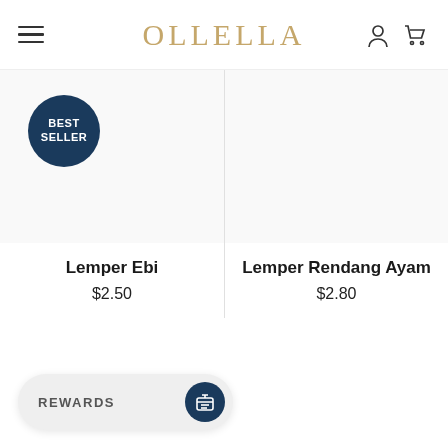OLLELLA
[Figure (logo): Best Seller circular badge in dark navy blue]
[Figure (photo): Product image placeholder for Lemper Ebi]
Lemper Ebi
$2.50
[Figure (photo): Product image placeholder for Lemper Rendang Ayam]
Lemper Rendang Ayam
$2.80
REWARDS